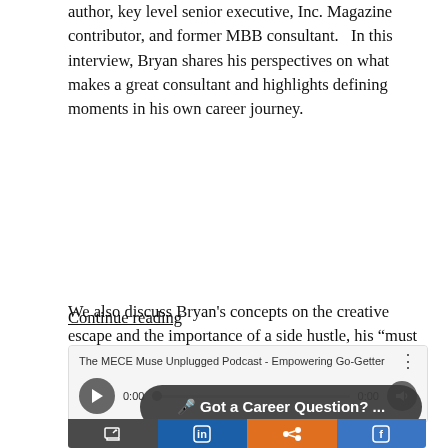author, key level senior executive, Inc. Magazine contributor, and former MBB consultant.   In this interview, Bryan shares his perspectives on what makes a great consultant and highlights defining moments in his own career journey.
We also discuss Bryan's concepts on the creative escape and the importance of a side hustle, his “must have-must not have” concept on decision making, and how he prioritized his own health and family life to lose over 100 pounds.
Continue reading
[Figure (screenshot): Embedded podcast player widget for 'The MECE Muse Unplugged Podcast - Empowering Go-Getter' showing play button, progress bar at 0:00, and volume control. Below it is a dark overlay bar reading '🎤 Got a Career Question? ...' and a bottom icon bar with share/social icons on colored backgrounds.]